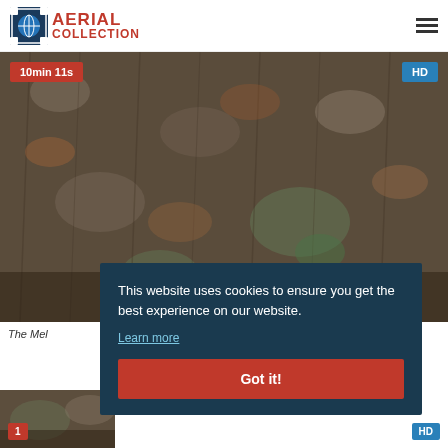AERIAL COLLECTION
[Figure (photo): Aerial photograph of a dense dead/burnt forest canopy with grey tree trunks and sparse green patches, shot from above]
The ... Mel...
This website uses cookies to ensure you get the best experience on our website. Learn more Got it!
[Figure (photo): Thumbnail of similar aerial forest image]